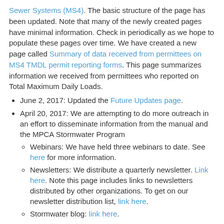Sewer Systems (MS4). The basic structure of the page has been updated. Note that many of the newly created pages have minimal information. Check in periodically as we hope to populate these pages over time. We have created a new page called Summary of data received from permittees on MS4 TMDL permit reporting forms. This page summarizes information we received from permittees who reported on Total Maximum Daily Loads.
June 2, 2017: Updated the Future Updates page.
April 20, 2017: We are attempting to do more outreach in an effort to disseminate information from the manual and the MPCA Stormwater Program
Webinars: We have held three webinars to date. See here for more information.
Newsletters: We distribute a quarterly newsletter. Link here. Note this page includes links to newsletters distributed by other organizations. To get on our newsletter distribution list, link here.
Stormwater blog: link here.
March 2, 2017: We are in the process of adding MS4 pollution prevention fact sheets to the MS4 page. The fact sheets can be found here. Note that new fact sheets are